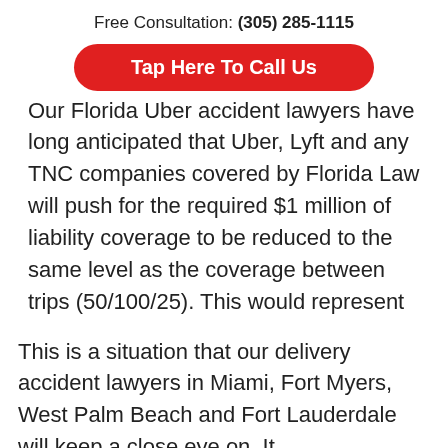Free Consultation: (305) 285-1115
Tap Here To Call Us
Our Florida Uber accident lawyers have long anticipated that Uber, Lyft and any TNC companies covered by Florida Law will push for the required $1 million of liability coverage to be reduced to the same level as the coverage between trips (50/100/25). This would represent a significant savings to these companies which would result in an appreciable increase in profits.
This is a situation that our delivery accident lawyers in Miami, Fort Myers, West Palm Beach and Fort Lauderdale will keep a close eye on. It